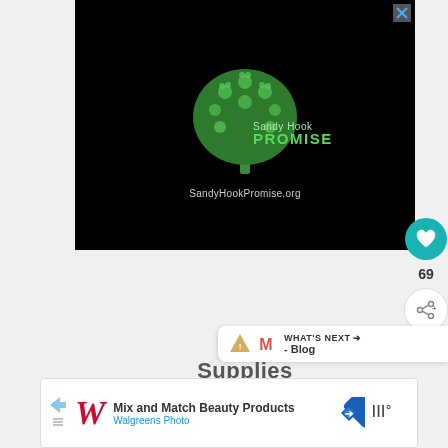[Figure (logo): Sandy Hook Promise advertisement on black background with tree logo made of hand prints and text 'Sandy Hook PROMISE' and 'SandyHookPromise.org'. Has an X close button in top right corner.]
[Figure (infographic): Social sidebar with teal heart button and like count of 69, plus a share button below.]
[Figure (infographic): What's Next widget showing two small icons (triangle and M logo) with text 'WHAT'S NEXT' arrow and '- Blog' label.]
Supplies
[Figure (infographic): Walgreens advertisement strip: 'Mix and Match Beauty Products' with Walgreens Photo branding, navigation arrow icon and 3M logo.]